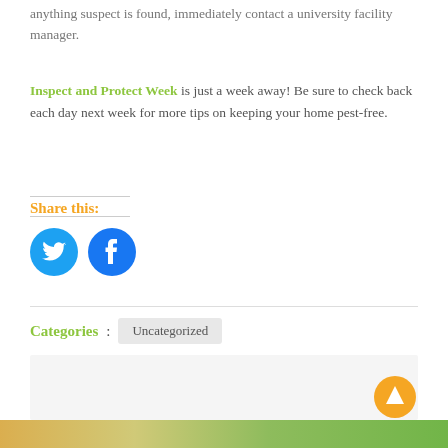anything suspect is found, immediately contact a university facility manager.
Inspect and Protect Week is just a week away! Be sure to check back each day next week for more tips on keeping your home pest-free.
Share this:
[Figure (illustration): Twitter bird icon (blue circle) and Facebook 'f' icon (blue circle) for social sharing]
Categories: Uncategorized
[Figure (photo): Bottom portion showing a blurred green and orange nature/plant background image]